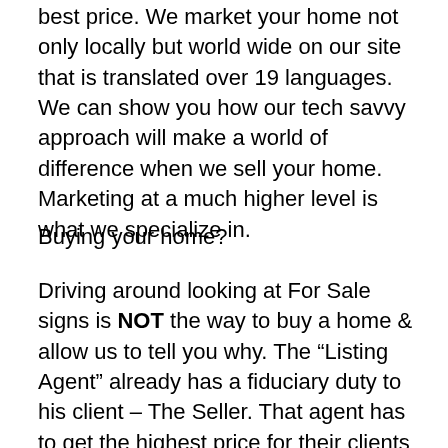best price. We market your home not only locally but world wide on our site that is translated over 19 languages. We can show you how our tech savvy approach will make a world of difference when we sell your home. Marketing at a much higher level is what we specialize in.
Buying your home?
Driving around looking at For Sale signs is NOT the way to buy a home & allow us to tell you why. The “Listing Agent” already has a fiduciary duty to his client – The Seller. That agent has to get the highest price for their clients home. As your Buyer Realtor Team we look out for you, the Buyer. We are in your corner making sure your interests are 1st. Our Real Estate Agents follow a proven strategy that works.
Ringo the Realtor loves Roundabout Homes & Real...